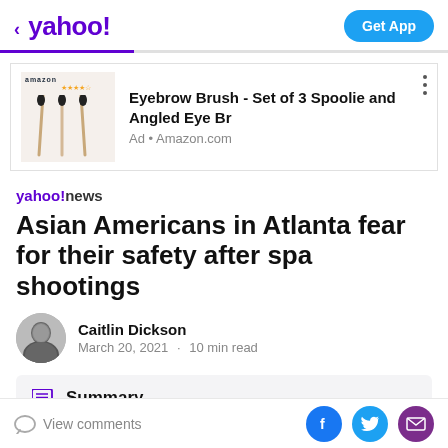< yahoo!   Get App
[Figure (photo): Advertisement banner showing eyebrow brushes from Amazon. Product title: Eyebrow Brush - Set of 3 Spoolie and Angled Eye Br. Ad • Amazon.com]
yahoo!news
Asian Americans in Atlanta fear for their safety after spa shootings
Caitlin Dickson · March 20, 2021 · 10 min read
Summary
View comments